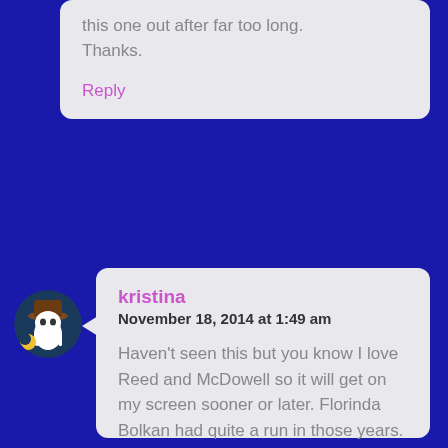this one out after far too long. Thanks.
Reply
[Figure (illustration): Circular avatar showing a ghost character wearing a brown hat on a dark background]
kristina
November 18, 2014 at 1:49 am
Haven’t seen this but you know I love Reed and McDowell so it will get on my screen sooner or later. Florinda Bolkan had quite a run in those years. Great pick to add to the blogathon.
Reply